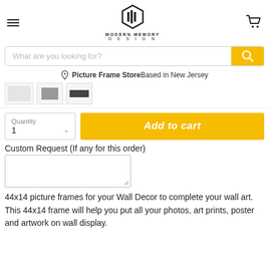[Figure (logo): Modern Memory Design logo — geometric hexagonal icon with vertical bars, text MODERN MEMORY DESIGN below]
[Figure (screenshot): Search bar with placeholder text 'What are you looking for?' and yellow search button]
Picture Frame Store Based in New Jersey
[Figure (photo): Small product thumbnail images of picture frames]
[Figure (screenshot): Quantity selector showing 1 and yellow Add to cart button]
Custom Request (If any for this order)
[Figure (screenshot): Empty text area for custom request input]
44x14 picture frames for your Wall Decor to complete your wall art. This 44x14 frame will help you put all your photos, art prints, poster and artwork on wall display.